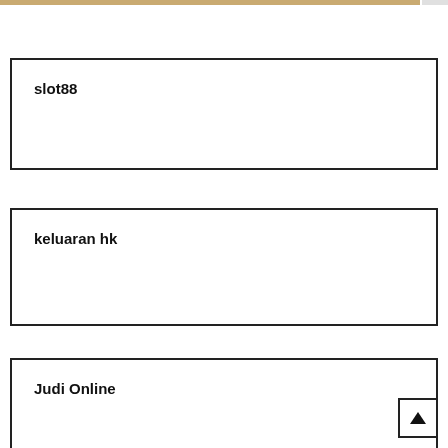slot88
keluaran hk
Judi Online